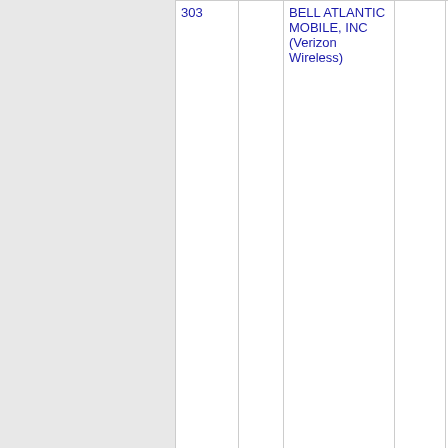| NXX | State | Company | OCN | City |
| --- | --- | --- | --- | --- |
| 303 |  | BELL ATLANTIC MOBILE, INC (Verizon Wireless) |  |  |
| 603-305 | NH | BELL ATLANTIC MOBILE, INC (Verizon Wireless) | 6386 | NASHUA |